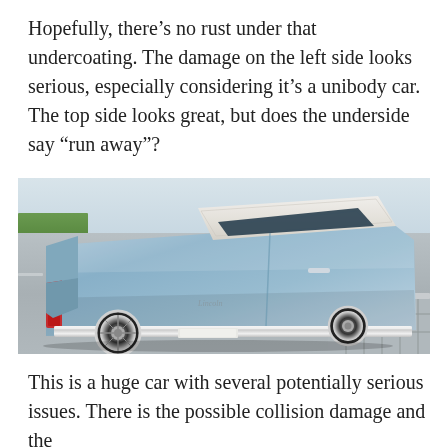Hopefully, there’s no rust under that undercoating. The damage on the left side looks serious, especially considering it’s a unibody car. The top side looks great, but does the underside say “run away”?
[Figure (photo): Rear three-quarter view of a classic light blue Lincoln Continental convertible with white soft top, parked on a street with a sidewalk visible in the lower right.]
This is a huge car with several potentially serious issues. There is the possible collision damage and the